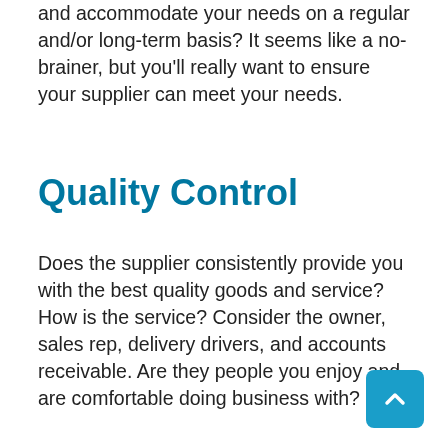and accommodate your needs on a regular and/or long-term basis? It seems like a no-brainer, but you'll really want to ensure your supplier can meet your needs.
Quality Control
Does the supplier consistently provide you with the best quality goods and service? How is the service? Consider the owner, sales rep, delivery drivers, and accounts receivable. Are they people you enjoy and are comfortable doing business with?
You may have noticed we left a somewhat important factor off the list–cost. While cost is a big factor in choosing and evaluating a supplier, it should not be a factor you weigh the heaviest...